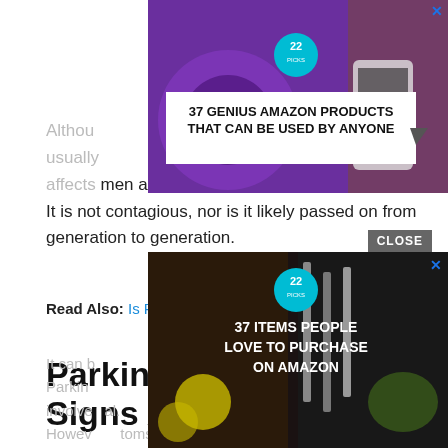[Figure (screenshot): Advertisement banner: '37 GENIUS AMAZON PRODUCTS THAT CAN BE USED BY ANYONE' with purple headphones image and 22 badge]
Although ... it usually ... affects men and women in almost equal numbers. It is not contagious, nor is it likely passed on from generation to generation.
Read Also: Is Parkinson's Disease Fatal
Parkinsons Disease Signs And Symptoms
It can b... om Parkin... involve... al. Howev... toms
[Figure (screenshot): Advertisement banner: '37 ITEMS PEOPLE LOVE TO PURCHASE ON AMAZON' with dark food/knife background and 22 badge, with CLOSE button]